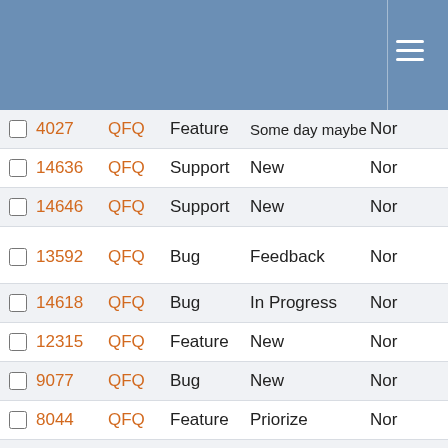|  | ID | Project | Type | Status | Priority |
| --- | --- | --- | --- | --- | --- |
| ☐ | 4027 | QFQ | Feature | Some day maybe | Nor |
| ☐ | 14636 | QFQ | Support | New | Nor |
| ☐ | 14646 | QFQ | Support | New | Nor |
| ☐ | 13592 | QFQ | Bug | Feedback | Nor |
| ☐ | 14618 | QFQ | Bug | In Progress | Nor |
| ☐ | 12315 | QFQ | Feature | New | Nor |
| ☐ | 9077 | QFQ | Bug | New | Nor |
| ☐ | 8044 | QFQ | Feature | Priorize | Nor |
| ☐ | 4413 | QFQ | Feature | New | Nor |
| ☐ | 14371 | QFQ | Feature | Priorize | Nor |